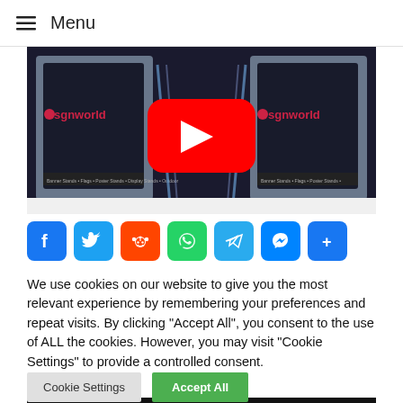≡ Menu
[Figure (screenshot): YouTube video thumbnail showing acrylic display stands with 'sgnworld' branding and a YouTube play button overlay]
[Figure (infographic): Social sharing icons row: Facebook, Twitter, Reddit, WhatsApp, Telegram, Messenger, Share]
We use cookies on our website to give you the most relevant experience by remembering your preferences and repeat visits. By clicking "Accept All", you consent to the use of ALL the cookies. However, you may visit "Cookie Settings" to provide a controlled consent.
Cookie Settings | Accept All